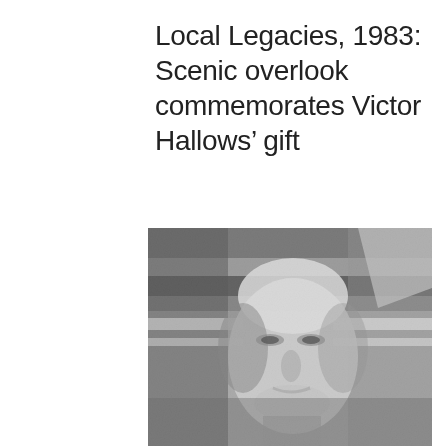Local Legacies, 1983: Scenic overlook commemorates Victor Hallows’ gift
[Figure (photo): A grainy black-and-white newspaper photograph of an elderly man’s face, looking directly at the camera. The image is low-resolution with a halftone/newsprint texture. The background appears to show horizontal striped structures behind the subject.]